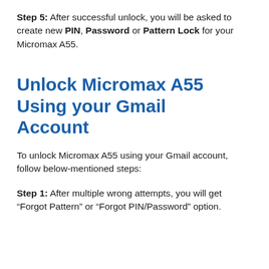Step 5: After successful unlock, you will be asked to create new PIN, Password or Pattern Lock for your Micromax A55.
Unlock Micromax A55 Using your Gmail Account
To unlock Micromax A55 using your Gmail account, follow below-mentioned steps:
Step 1: After multiple wrong attempts, you will get “Forgot Pattern” or “Forgot PIN/Password” option.